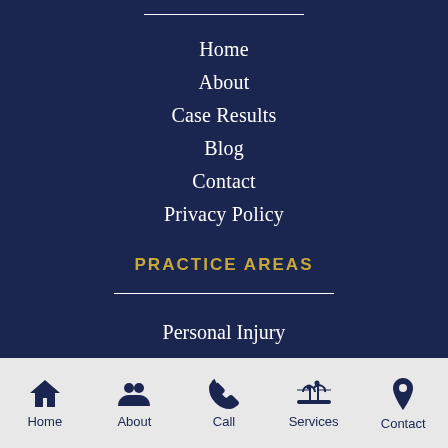Home
About
Case Results
Blog
Contact
Privacy Policy
PRACTICE AREAS
Personal Injury
Car Accidents
Catastrophic Injuries
Motorcycle Accidents
Home  About  Call  Services  Contact